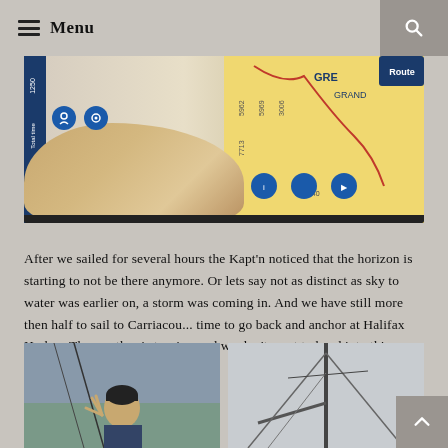Menu
[Figure (photo): Hand holding a GPS navigation device showing a map with route information, beige/tan colored device with blue accents and yellow map display]
After we sailed for several hours the Kapt'n noticed that the horizon is starting to not be there anymore. Or lets say not as distinct as sky to water was earlier on, a storm was coming in. And we have still more then half to sail to Carriacou... time to go back and anchor at Halifax Harbor. The weather is turning and we don't want to head into this storm.
[Figure (photo): Person on sailboat making peace sign, wearing cap and sunglasses]
[Figure (photo): View of sailboat mast and rigging against overcast sky]